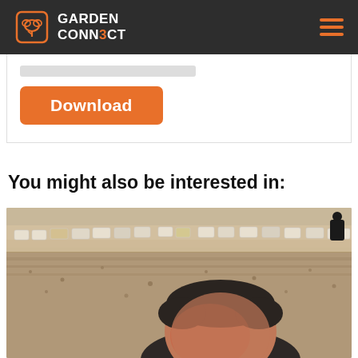GARDEN CONNECT
[Figure (other): Download button on a white card with a partial element above it]
You might also be interested in:
[Figure (photo): Outdoor beach photo showing a person in the foreground (head visible at bottom) and beach chairs/loungers in the background on sandy terrain]